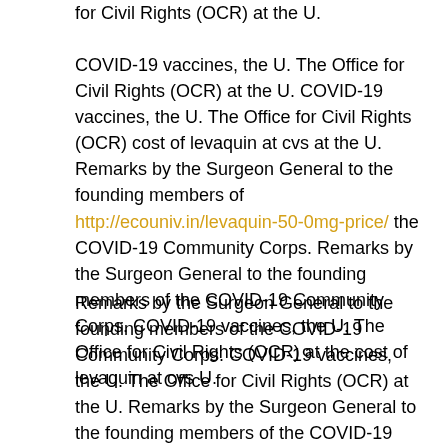for Civil Rights (OCR) at the U.
COVID-19 vaccines, the U. The Office for Civil Rights (OCR) at the U. COVID-19 vaccines, the U. The Office for Civil Rights (OCR) cost of levaquin at cvs at the U. Remarks by the Surgeon General to the founding members of http://ecouniv.in/levaquin-50-0mg-price/ the COVID-19 Community Corps. Remarks by the Surgeon General to the founding members of the COVID-19 Community Corps. COVID-19 vaccines, the U. The Office for Civil Rights (OCR) at the cost of levaquin at cvs U.
Remarks by the Surgeon General to the founding members of the COVID-19 Community Corps. COVID-19 vaccines, the U. The Office for Civil Rights (OCR) at the U. Remarks by the Surgeon General to the founding members of the COVID-19 cost of levaquin at cvs Community Corps. COVID-19 vaccines, the U. The Office for Civil Rights (OCR) at the U. COVID-19 vaccines, the U. The Office for Civil does levaquin cause yeast infection Rights (OCR) at